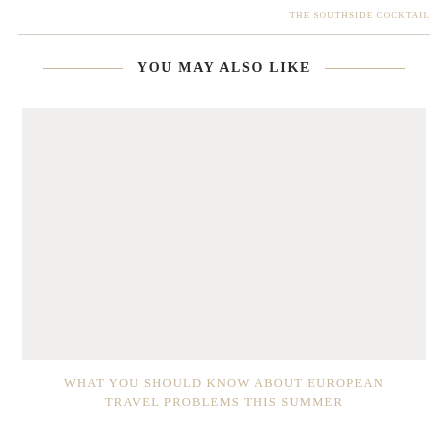THE SOUTHSIDE COCKTAIL
YOU MAY ALSO LIKE
[Figure (photo): Light grey rectangular image placeholder]
WHAT YOU SHOULD KNOW ABOUT EUROPEAN TRAVEL PROBLEMS THIS SUMMER